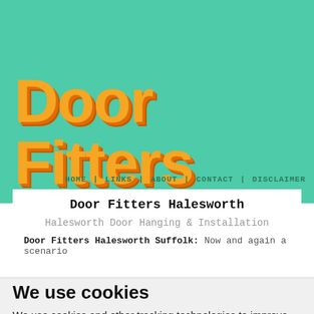[Figure (logo): Door Fitters logo in large orange bold text on teal/mint green background]
HOME | LINKS | ABOUT | CONTACT | DISCLAIMER
Door Fitters Halesworth
Halesworth Door Hanging & Installation
Door Fitters Halesworth Suffolk: Now and again a scenario
We use cookies
We use cookies and other tracking technologies to improve your browsing experience on our website, to show you personalized content and targeted ads, to analyze our website traffic, and